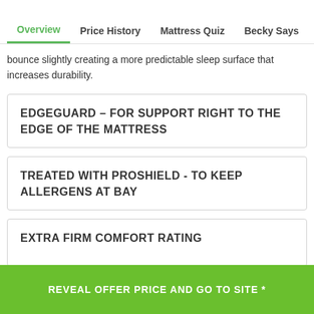Overview | Price History | Mattress Quiz | Becky Says | Pe
bounce slightly creating a more predictable sleep surface that increases durability.
EDGEGUARD – FOR SUPPORT RIGHT TO THE EDGE OF THE MATTRESS
TREATED WITH PROSHIELD - TO KEEP ALLERGENS AT BAY
EXTRA FIRM COMFORT RATING
REVEAL OFFER PRICE AND GO TO SITE *